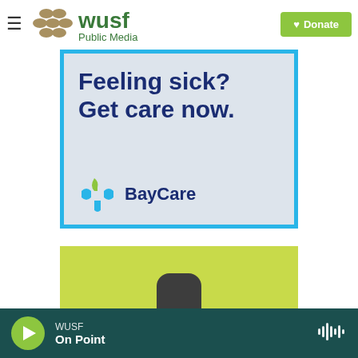[Figure (logo): WUSF Public Media logo with hamburger menu icon on the left and green Donate button on the right]
[Figure (infographic): BayCare advertisement with light blue border and grey background. Text reads 'Feeling sick? Get care now.' with BayCare logo at bottom.]
[Figure (photo): Green advertisement banner with a dark Amazon Echo-style smart speaker device visible at the bottom.]
[Figure (other): Bottom audio player bar in dark teal/green with WUSF green play button, station name WUSF, show name 'On Point', and waveform icon on the right.]